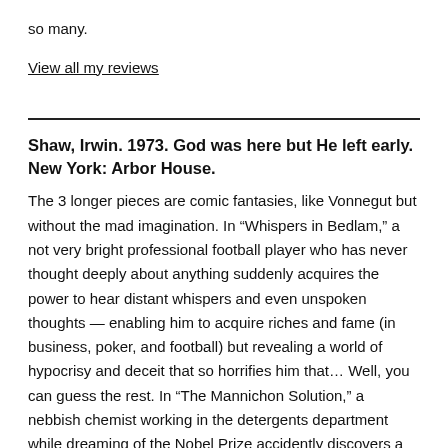so many.
View all my reviews
Shaw, Irwin. 1973. God was here but He left early. New York: Arbor House.
The 3 longer pieces are comic fantasies, like Vonnegut but without the mad imagination. In “Whispers in Bedlam,” a not very bright professional football player who has never thought deeply about anything suddenly acquires the power to hear distant whispers and even unspoken thoughts — enabling him to acquire riches and fame (in business, poker, and football) but revealing a world of hypocrisy and deceit that so horrifies him that… Well, you can guess the rest. In “The Mannichon Solution,” a nebbish chemist working in the detergents department while dreaming of the Nobel Prize accidently discovers a solution that might make him rich and